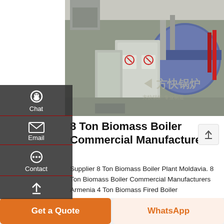[Figure (photo): Industrial biomass boiler plant installation showing large cylindrical boilers, pipes, metal panels with safety symbols, inside a factory building. Watermark text in Chinese characters visible.]
8 Ton Biomass Boiler Commercial Manufacturers
Supplier 8 Ton Biomass Boiler Plant Moldavia. 8 Ton Biomass Boiler Commercial Manufacturers Armenia 4 Ton Biomass Fired Boiler Commercial Agent Latvia. 2021/10/14 · 4 ton gas steam boiler for factory. gas burned steam manufacturers 4 ton biomass
[Figure (other): Scroll to top button with upward arrow icon]
Chat
Email
Contact
Get a Quote
WhatsApp